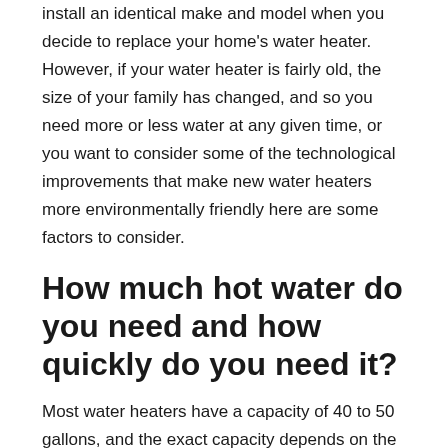install an identical make and model when you decide to replace your home's water heater. However, if your water heater is fairly old, the size of your family has changed, and so you need more or less water at any given time, or you want to consider some of the technological improvements that make new water heaters more environmentally friendly here are some factors to consider.
How much hot water do you need and how quickly do you need it?
Most water heaters have a capacity of 40 to 50 gallons, and the exact capacity depends on the size of your water heater and how much space you want to devote to it. Also, heaters come with a